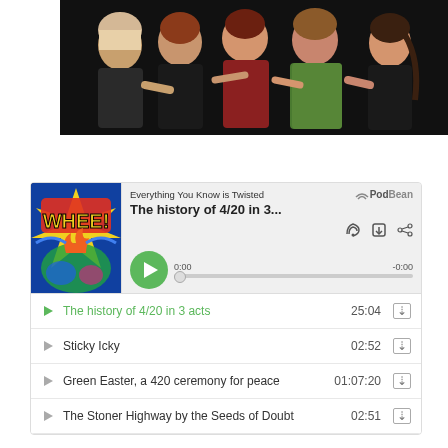[Figure (photo): Group photo of several people posing together against a dark background]
[Figure (screenshot): PodBean podcast player widget showing 'Everything You Know is Twisted' podcast, episode 'The history of 4/20 in 3...' with play controls and track list including: 'The history of 4/20 in 3 acts' (25:04), 'Sticky Icky' (02:52), 'Green Easter, a 420 ceremony for peace' (01:07:20), 'The Stoner Highway by the Seeds of Doubt' (02:51)]